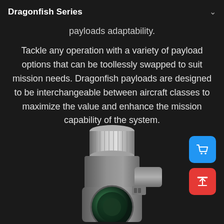Dragonfish Series
payloads adaptability.
Tackle any operation with a variety of payload options that can be toollessly swapped to suit mission needs. Dragonfish payloads are designed to be interchangeable between aircraft classes to maximize the value and enhance the mission capability of the system.
[Figure (photo): Blue shopping cart icon button on blue rounded square background]
[Figure (photo): Upload/share icon (arrow pointing up with bar) on red rounded square background]
[Figure (photo): Photo of a drone camera payload gimbal assembly — silver/grey metallic cylindrical lens mount with green lens element visible at bottom, mounted on a gimbal arm, photographed from below-front angle against dark background]